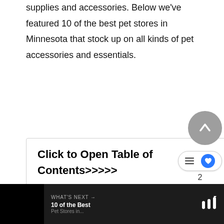supplies and accessories. Below we've featured 10 of the best pet stores in Minnesota that stock up on all kinds of pet accessories and essentials.
Click to Open Table of Contents>>>>>
1. Urban Tails Pet Supply (Minneapolis)